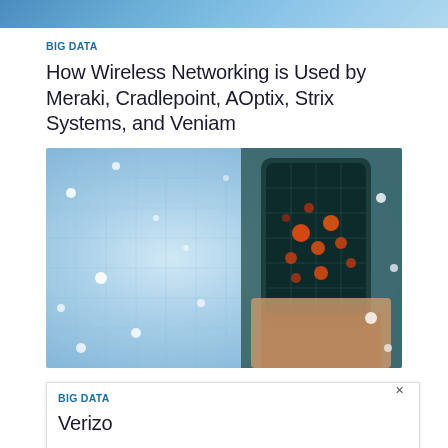[Figure (photo): Top strip image — blurred background strip of a technology/networking themed image]
BIG DATA
How Wireless Networking is Used by Meraki, Cradlepoint, AOptix, Strix Systems, and Veniam
[Figure (photo): A hand holding a smartphone with a glowing network overlay and circuit-board-style light grid in the background — wireless networking / big data concept image]
BIG DATA
Verizo